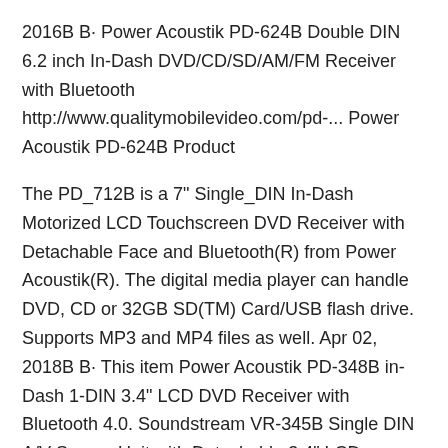2016B B· Power Acoustik PD-624B Double DIN 6.2 inch In-Dash DVD/CD/SD/AM/FM Receiver with Bluetooth http://www.qualitymobilevideo.com/pd-... Power Acoustik PD-624B Product
The PD_712B is a 7" Single_DIN In-Dash Motorized LCD Touchscreen DVD Receiver with Detachable Face and Bluetooth(R) from Power Acoustik(R). The digital media player can handle DVD, CD or 32GB SD(TM) Card/USB flash drive. Supports MP3 and MP4 files as well. Apr 02, 2018B B· This item Power Acoustik PD-348B in-Dash 1-DIN 3.4" LCD DVD Receiver with Bluetooth 4.0. Soundstream VR-345B Single DIN A/V Source Unit with Detachable 3.4" LCD Screen/Bluetooth. BOSS Audio BV7265B Car Multimedia Receiver - Single Din, Bluetooth Audio and Hands-Free Calling, Built-in Microphone, USB-SD, No CD-DVD, Aux-in, Am/FM Radio Receiver